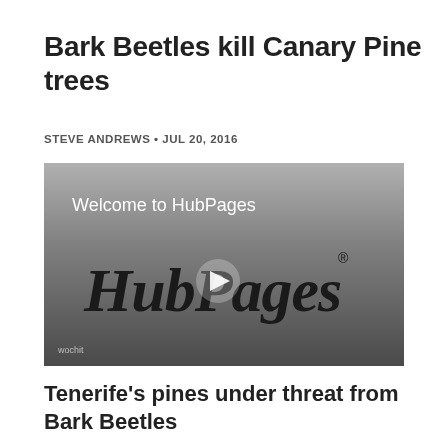Bark Beetles kill Canary Pine trees
STEVE ANDREWS • JUL 20, 2016
[Figure (screenshot): Video player thumbnail showing 'Welcome to HubPages' text and HubPages logo with play button overlay on a grey gradient background. 'wochit' watermark in lower left corner.]
Tenerife's pines under threat from Bark Beetles